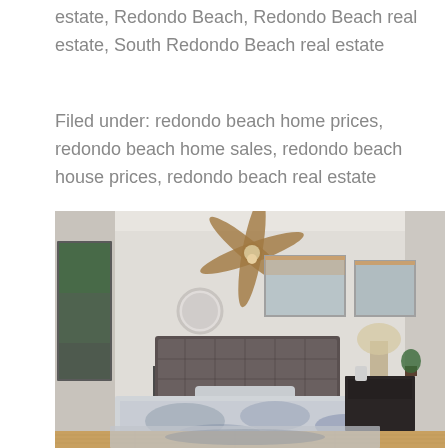estate, Redondo Beach, Redondo Beach real estate, South Redondo Beach real estate
Filed under: redondo beach home prices, redondo beach home sales, redondo beach house prices, redondo beach real estate
[Figure (photo): Interior bedroom photo showing a well-decorated master bedroom with a ceiling fan, tufted headboard bed with blue and white bedding, hardwood floors, area rug, round mirror on wall, windows with roman shades, and a dark wood nightstand with a lamp.]